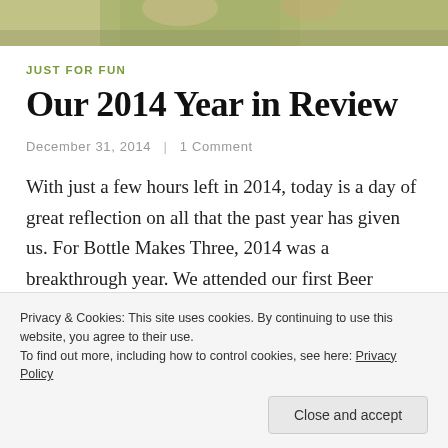[Figure (photo): Partial photo of people at the top of the page, cropped]
JUST FOR FUN
Our 2014 Year in Review
December 31, 2014  |  1 Comment
With just a few hours left in 2014, today is a day of great reflection on all that the past year has given us. For Bottle Makes Three, 2014 was a breakthrough year. We attended our first Beer Bloggers Conference, which has helped us find our voice and understand our role in the craft beer community. We've focused on bringing you more interesting content, and while we still have a ways to go to
Privacy & Cookies: This site uses cookies. By continuing to use this website, you agree to their use.
To find out more, including how to control cookies, see here: Privacy Policy
Close and accept